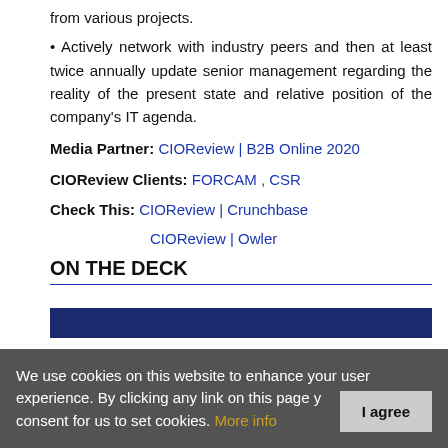from various projects.
• Actively network with industry peers and then at least twice annually update senior management regarding the reality of the present state and relative position of the company's IT agenda.
Media Partner: CIOReview | B2B Online 2020
CIOReview Clients: FORCAM , CSR
Check This: CIOReview | Crunchbase
CIOReview | Owler
ON THE DECK
[Figure (other): Dark navy blue horizontal bar at the bottom of the ON THE DECK section]
We use cookies on this website to enhance your user experience. By clicking any link on this page you give your consent for us to set cookies. More info